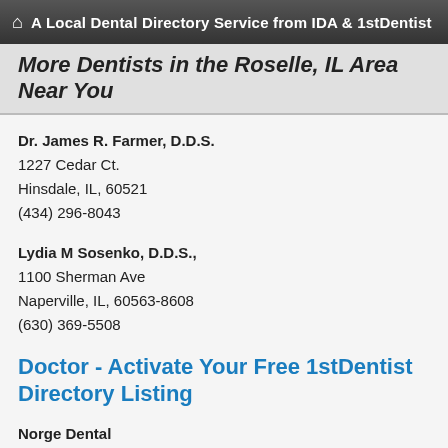A Local Dental Directory Service from IDA & 1stDentist
More Dentists in the Roselle, IL Area Near You
Dr. James R. Farmer, D.D.S.
1227 Cedar Ct.
Hinsdale, IL, 60521
(434) 296-8043
Lydia M Sosenko, D.D.S.,
1100 Sherman Ave
Naperville, IL, 60563-8608
(630) 369-5508
Doctor - Activate Your Free 1stDentist Directory Listing
Norge Dental
7450 Richmond Rd
Vernon Hills, IL, 60061
(757) 564-0804
Perry Jones III, D.D.S.
2803 McRae Road Suite B2